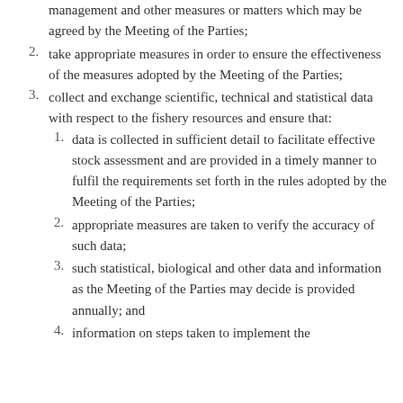1. promptly implement this Agreement and any conservation, management and other measures or matters which may be agreed by the Meeting of the Parties;
2. take appropriate measures in order to ensure the effectiveness of the measures adopted by the Meeting of the Parties;
3. collect and exchange scientific, technical and statistical data with respect to the fishery resources and ensure that:
3.1. data is collected in sufficient detail to facilitate effective stock assessment and are provided in a timely manner to fulfil the requirements set forth in the rules adopted by the Meeting of the Parties;
3.2. appropriate measures are taken to verify the accuracy of such data;
3.3. such statistical, biological and other data and information as the Meeting of the Parties may decide is provided annually; and
3.4. information on steps taken to implement the